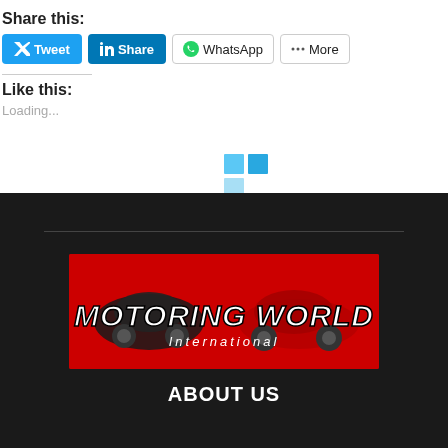Share this:
[Figure (screenshot): Social share buttons: Tweet (Twitter/blue), Share (LinkedIn/blue), WhatsApp, More]
Like this:
[Figure (other): Loading spinner grid (blue squares pattern)]
Loading...
[Figure (logo): Motoring World International logo on red background with illustrated cars]
ABOUT US